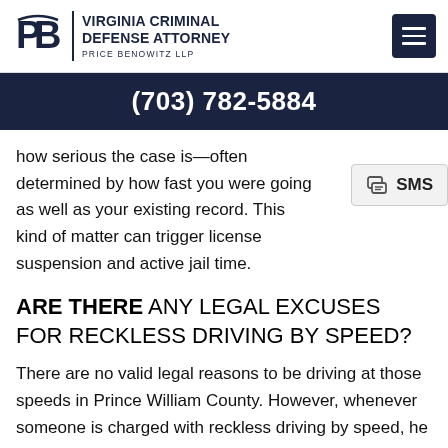VIRGINIA CRIMINAL DEFENSE ATTORNEY PRICE BENOWITZ LLP
(703) 782-5884
how serious the case is—often determined by how fast you were going as well as your existing record. This kind of matter can trigger license suspension and active jail time.
SMS
ARE THERE ANY LEGAL EXCUSES FOR RECKLESS DRIVING BY SPEED?
There are no valid legal reasons to be driving at those speeds in Prince William County. However, whenever someone is charged with reckless driving by speed, he or she will be dealing with both the prosecutor and the judge, and it may be possible to demonstrate mitigating circumstances.